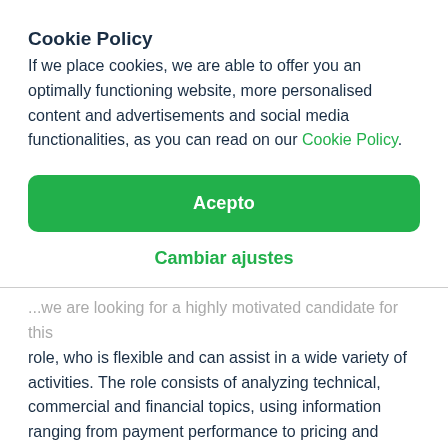Cookie Policy
If we place cookies, we are able to offer you an optimally functioning website, more personalised content and advertisements and social media functionalities, as you can read on our Cookie Policy.
Acepto
Cambiar ajustes
...role, who is flexible and can assist in a wide variety of activities. The role consists of analyzing technical, commercial and financial topics, using information ranging from payment performance to pricing and assisting in making our solution operationally excellent.